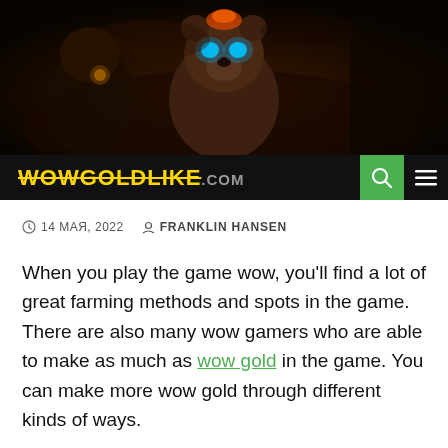[Figure (illustration): Dark fantasy game banner image featuring a glowing-eyed bear creature and other fantasy characters against a dark background, serving as the website header image for wowgoldlike.com]
WOWGOLDLIKE.COM
14 МАЯ, 2022  FRANKLIN HANSEN
When you play the game wow, you'll find a lot of great farming methods and spots in the game. There are also many wow gamers who are able to make as much as wow gold in the game. You can make more wow gold through different kinds of ways.